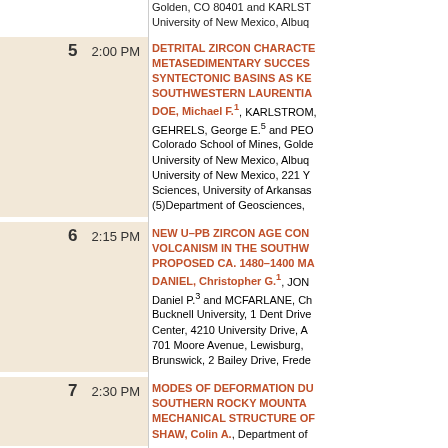Golden, CO 80401 and KARLST... University of New Mexico, Albuq...
5  2:00 PM  DETRITAL ZIRCON CHARACTE... METASEDIMENTARY SUCCES... SYNTECTONIC BASINS AS KE... SOUTHWESTERN LAURENTIA... DOE, Michael F.1, KARLSTROM, GEHRELS, George E.5 and PEO... Colorado School of Mines, Golde... University of New Mexico, Albuq... University of New Mexico, 221 Y... Sciences, University of Arkansas... (5)Department of Geosciences,
6  2:15 PM  NEW U-PB ZIRCON AGE CON... VOLCANISM IN THE SOUTHW... PROPOSED CA. 1480-1400 MA... DANIEL, Christopher G.1, JON... Daniel P.3 and MCFARLANE, Ch... Bucknell University, 1 Dent Drive... Center, 4210 University Drive, A... 701 Moore Avenue, Lewisburg, ... Brunswick, 2 Bailey Drive, Frede...
7  2:30 PM  MODES OF DEFORMATION DU... SOUTHERN ROCKY MOUNTA... MECHANICAL STRUCTURE OF... SHAW, Colin A., Department of